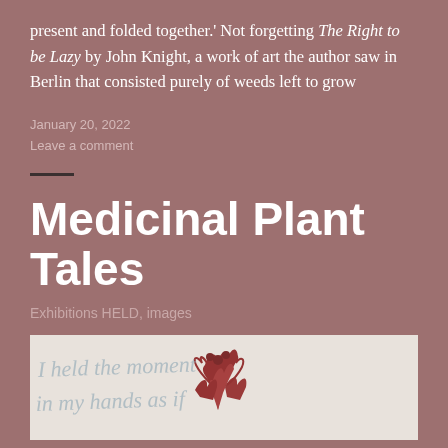present and folded together.' Not forgetting The Right to be Lazy by John Knight, a work of art the author saw in Berlin that consisted purely of weeds left to grow
January 20, 2022
Leave a comment
Medicinal Plant Tales
Exhibitions HELD, images
[Figure (photo): Artwork showing handwritten cursive text 'I held the moment in my hands as if' with red floral painted elements on a light background]